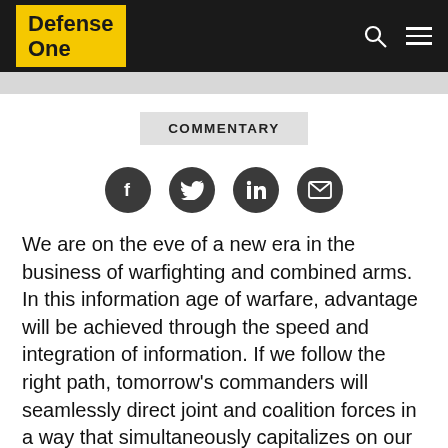Defense One
COMMENTARY
[Figure (illustration): Social media sharing icons: Facebook, Twitter, LinkedIn, Email]
We are on the eve of a new era in the business of warfighting and combined arms. In this information age of warfare, advantage will be achieved through the speed and integration of information. If we follow the right path, tomorrow's commanders will seamlessly direct joint and coalition forces in a way that simultaneously capitalizes on our advantages on land; at sea; and in the air, space, and cyberspace. The primary warfighting attributes will be decision speed and operational agility. In short, our asymmetric